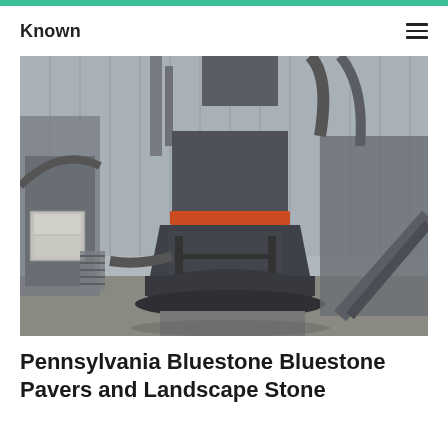Known
[Figure (photo): Industrial stone crushing or grinding machine — a large cone crusher with dark grey body, orange band around mid-section, inside an industrial warehouse with metal framework, conveyors, and ductwork visible in background]
Pennsylvania Bluestone Bluestone Pavers and Landscape Stone